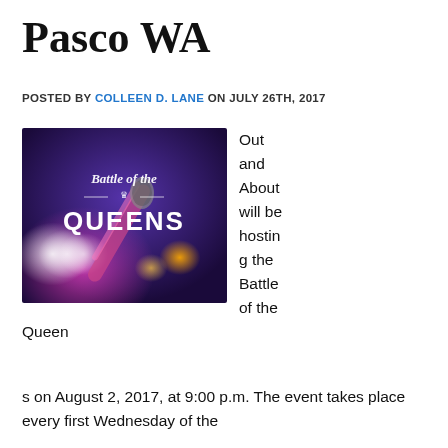Pasco WA
POSTED BY COLLEEN D. LANE ON JULY 26TH, 2017
[Figure (photo): Promotional image for 'Battle of the Queens' event showing a microphone against a dark purple and pink bokeh background with the text 'Battle of the Queens' displayed prominently.]
Out and About will be hosting the Battle of the Queens on August 2, 2017, at 9:00 p.m. The event takes place every first Wednesday of the